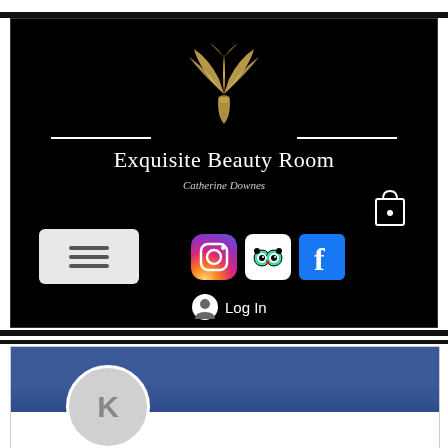[Figure (screenshot): Exquisite Beauty Room website header on black background with gold butterfly/leaf logo, business name, Catherine Downes tagline, hamburger menu button, Instagram, TripAdvisor, Facebook social icons, shopping bag icon, and Log In button]
[Figure (screenshot): Facebook-style page section with navy blue cover photo, profile circle showing letter K, Follow button, and three-dots menu]